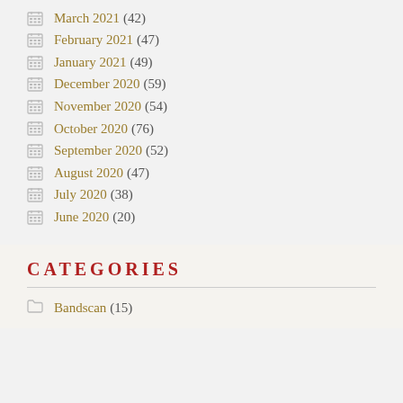March 2021 (42)
February 2021 (47)
January 2021 (49)
December 2020 (59)
November 2020 (54)
October 2020 (76)
September 2020 (52)
August 2020 (47)
July 2020 (38)
June 2020 (20)
Categories
Bandscan (15)